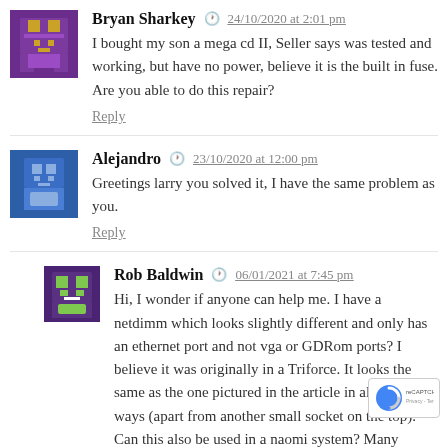[Figure (illustration): Pixel-art avatar of Bryan Sharkey, purple/gold themed]
Bryan Sharkey  24/10/2020 at 2:01 pm
I bought my son a mega cd II, Seller says was tested and working, but have no power, believe it is the built in fuse. Are you able to do this repair?
Reply
[Figure (illustration): Pixel-art avatar of Alejandro, blue themed]
Alejandro  23/10/2020 at 12:00 pm
Greetings larry you solved it, I have the same problem as you.
Reply
[Figure (illustration): Pixel-art avatar of Rob Baldwin, green/purple themed]
Rob Baldwin  06/01/2021 at 7:45 pm
Hi, I wonder if anyone can help me. I have a netdimm which looks slightly different and only has an ethernet port and not vga or GDRom ports? I believe it was originally in a Triforce. It looks the same as the one pictured in the article in all other ways (apart from another small socket on the top). Can this also be used in a naomi system? Many thanks.